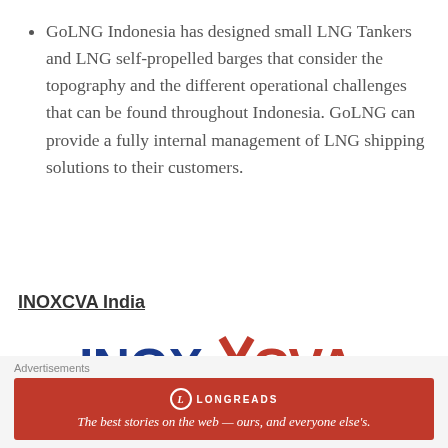GoLNG Indonesia has designed small LNG Tankers and LNG self-propelled barges that consider the topography and the different operational challenges that can be found throughout Indonesia. GoLNG can provide a fully internal management of LNG shipping solutions to their customers.
INOXCVA India
[Figure (logo): INOXCVA logo in red and blue with 'INOX India Pvt. Ltd.' text below]
Advertisements
[Figure (infographic): Longreads advertisement banner: red background with circle L logo, horizontal lines, 'LONGREADS' text and tagline 'The best stories on the web — ours, and everyone else's.']